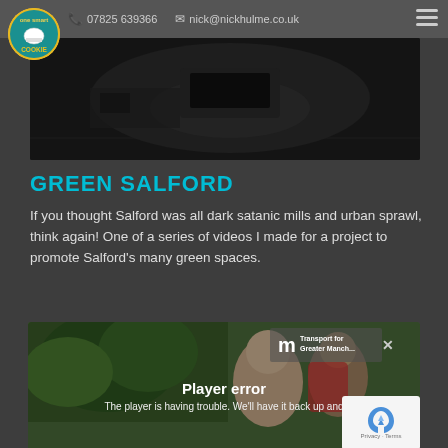07825 639366  nick@nickhulme.co.uk
[Figure (photo): Dark interior car dashboard photo, dimly lit]
GREEN SALFORD
If you thought Salford was all dark satanic mills and urban sprawl, think again! One of a series of videos I made for a project to promote Salford's many green spaces.
[Figure (screenshot): Video player showing a woman with a child outdoors, with a 'Player error' message overlay. Transport for Greater Manchester badge visible. Text reads: 'Player error - The player is having trouble. We'll have it back up and']